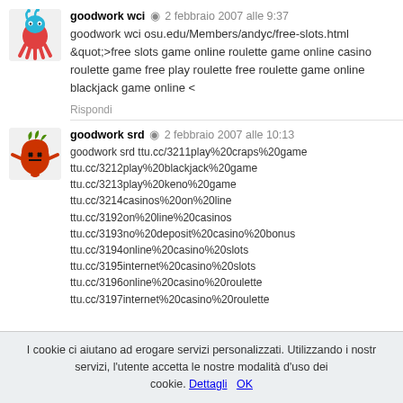goodwork wci · 2 febbraio 2007 alle 9:37
goodwork wci osu.edu/Members/andyc/free-slots.html &quot;>free slots game online roulette game online casino roulette game free play roulette free roulette game online blackjack game online <
Rispondi
goodwork srd · 2 febbraio 2007 alle 10:13
goodwork srd ttu.cc/3211play%20craps%20game ttu.cc/3212play%20blackjack%20game ttu.cc/3213play%20keno%20game ttu.cc/3214casinos%20on%20line ttu.cc/3192on%20line%20casinos ttu.cc/3193no%20deposit%20casino%20bonus ttu.cc/3194online%20casino%20slots ttu.cc/3195internet%20casino%20slots ttu.cc/3196online%20casino%20roulette ttu.cc/3197internet%20casino%20roulette
I cookie ci aiutano ad erogare servizi personalizzati. Utilizzando i nostri servizi, l'utente accetta le nostre modalità d'uso dei cookie. Dettagli OK